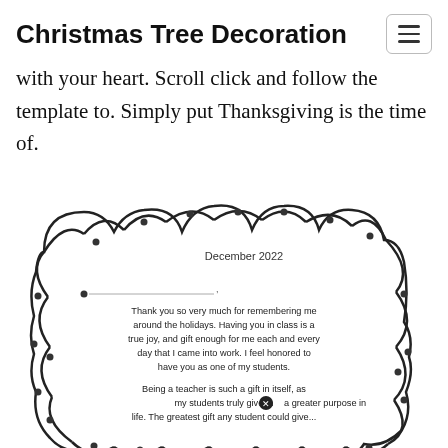Christmas Tree Decoration
with your heart. Scroll click and follow the template to. Simply put Thanksgiving is the time of.
[Figure (illustration): A Christmas tree ornament / decoration template with bumpy scalloped edges. Inside it reads 'December 2022' at top right, a line for a name, and a thank-you message: 'Thank you so very much for remembering me around the holidays. Having you in class is a true joy, and gift enough for me each and every day that I come into work. I feel honored to have you as one of my students. Being a teacher is such a gift in itself, as my students truly give me a greater purpose in life. The greatest gift any student could give...' with decorative circular dots around the border.]